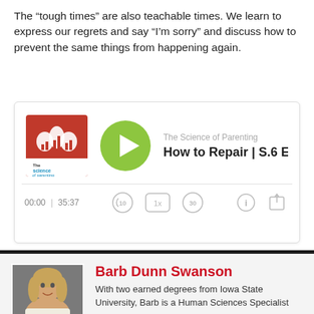The “tough times” are also teachable times. We learn to express our regrets and say “I’m sorry” and discuss how to prevent the same things from happening again.
[Figure (screenshot): Podcast player widget for 'The Science of Parenting' podcast episode 'How to Repair | S.6 Ep.6' showing album art, green play button, time 00:00 | 35:37, and playback controls]
[Figure (photo): Headshot photo of Barb Dunn Swanson, a woman with shoulder-length blonde hair wearing a white blazer, against a gray background]
Barb Dunn Swanson
With two earned degrees from Iowa State University, Barb is a Human Sciences Specialist